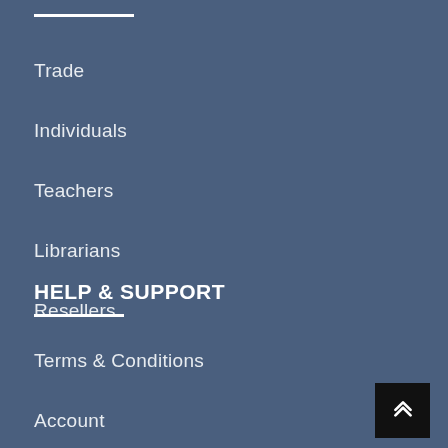Trade
Individuals
Teachers
Librarians
Resellers
HELP & SUPPORT
Terms & Conditions
Account
Shipping & Returns